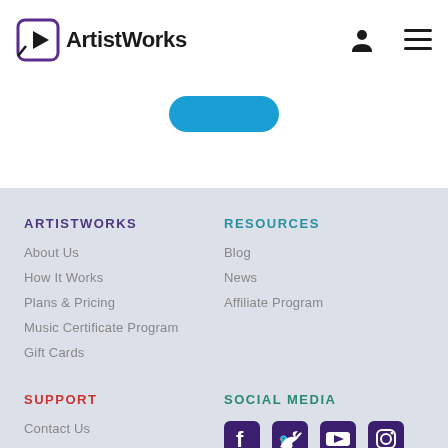ArtistWorks
[Figure (other): Blue button partially visible]
ARTISTWORKS
About Us
How It Works
Plans & Pricing
Music Certificate Program
Gift Cards
RESOURCES
Blog
News
Affiliate Program
SUPPORT
Contact Us
FAQ
SOCIAL MEDIA
[Figure (other): Social media icons: Facebook, Twitter, YouTube, Instagram]